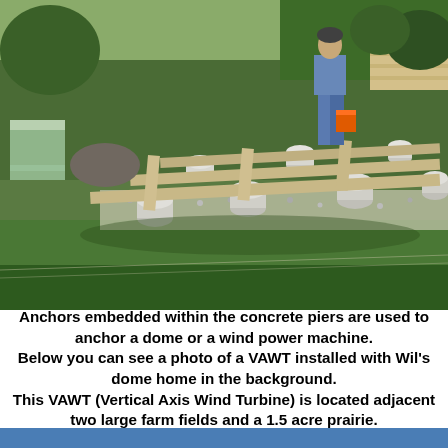[Figure (photo): Outdoor construction photo showing a wooden frame structure resting on concrete cylindrical piers/footings, set in a grassy yard with gravel underneath the frame. A person stands on the structure holding an orange bucket. Lawn chairs and stacked lumber visible in the background.]
Anchors embedded within the concrete piers are used to anchor a dome or a wind power machine. Below you can see a photo of a VAWT installed with Wil's dome home in the background. This VAWT (Vertical Axis Wind Turbine) is located adjacent two large farm fields and a 1.5 acre prairie.